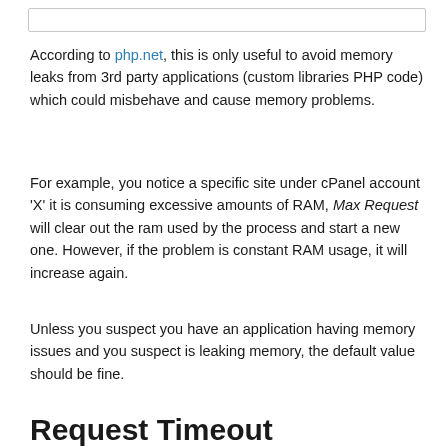According to php.net, this is only useful to avoid memory leaks from 3rd party applications (custom libraries PHP code) which could misbehave and cause memory problems.
For example, you notice a specific site under cPanel account 'X' it is consuming excessive amounts of RAM, Max Request will clear out the ram used by the process and start a new one. However, if the problem is constant RAM usage, it will increase again.
Unless you suspect you have an application having memory issues and you suspect is leaking memory, the default value should be fine.
Request Timeout